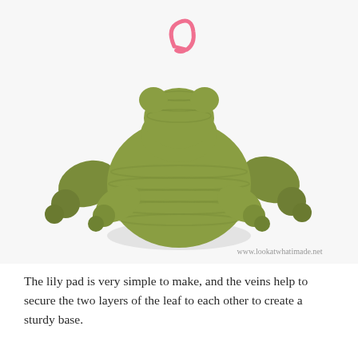[Figure (photo): A crocheted amigurumi frog in olive/army green yarn, viewed from the back/side. The frog is seated with its legs splayed out, and has a pink stitch marker or safety pin clipped to the top of its head. The background is white/light gray. A watermark reads www.lookatwhatimade.net in the lower right.]
The lily pad is very simple to make, and the veins help to secure the two layers of the leaf to each other to create a sturdy base.